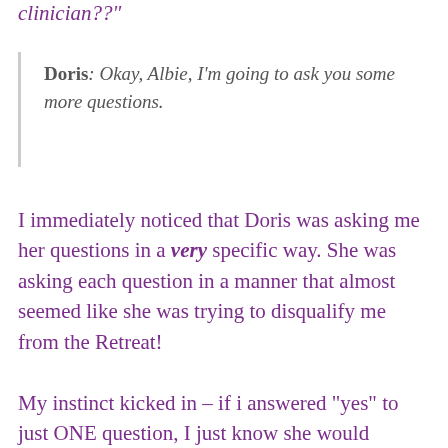clinician??"
Doris: Okay, Albie, I'm going to ask you some more questions.
I immediately noticed that Doris was asking me her questions in a very specific way. She was asking each question in a manner that almost seemed like she was trying to disqualify me from the Retreat!
My instinct kicked in – if i answered “yes” to just ONE question, I just know she would